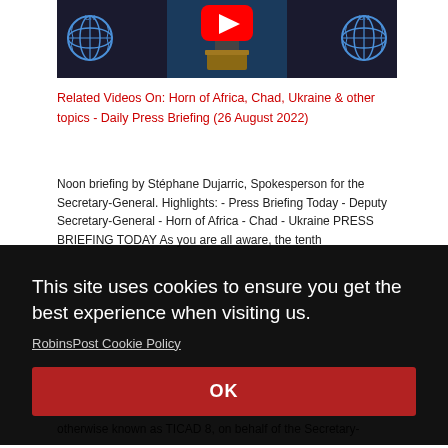[Figure (screenshot): YouTube thumbnail showing a UN press briefing. A person stands at a podium with UN logos on either side. A red YouTube play button icon is visible in the upper center.]
Related Videos On: Horn of Africa, Chad, Ukraine & other topics - Daily Press Briefing (26 August 2022)
Noon briefing by Stéphane Dujarric, Spokesperson for the Secretary-General. Highlights: - Press Briefing Today - Deputy Secretary-General - Horn of Africa - Chad - Ukraine PRESS BRIEFING TODAY As you are all aware, the tenth
This site uses cookies to ensure you get the best experience when visiting us.
RobinsPost Cookie Policy
OK
Tokyo International Conference on African Development, otherwise known as TICAD 8, on behalf of the Secretary-